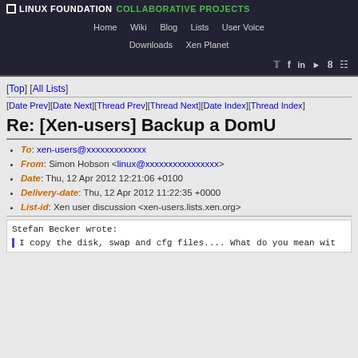LINUX FOUNDATION COLLABORATIVE PROJECTS — Navigation: Home Wiki Blog Lists User Voice Downloads Xen Planet
[Top] [All Lists]
[Date Prev][Date Next][Thread Prev][Thread Next][Date Index][Thread Index]
Re: [Xen-users] Backup a DomU
To: xen-users@xxxxxxxxxxxxx
From: Simon Hobson <linux@xxxxxxxxxxxxxxxx>
Date: Thu, 12 Apr 2012 12:21:06 +0100
Delivery-date: Thu, 12 Apr 2012 11:22:35 +0000
List-id: Xen user discussion <xen-users.lists.xen.org>
Stefan Becker wrote:

I copy the disk, swap and cfg files.... What do you mean wit